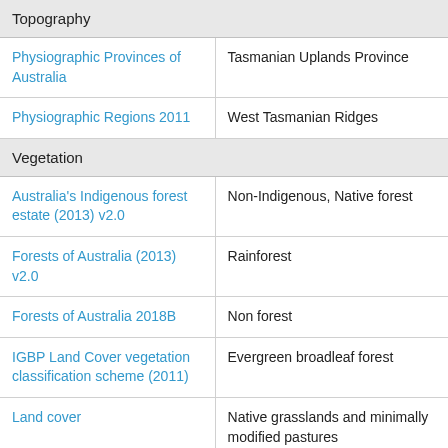| Category | Value |
| --- | --- |
| Topography |  |
| Physiographic Provinces of Australia | Tasmanian Uplands Province |
| Physiographic Regions 2011 | West Tasmanian Ridges |
| Vegetation |  |
| Australia's Indigenous forest estate (2013) v2.0 | Non-Indigenous, Native forest |
| Forests of Australia (2013) v2.0 | Rainforest |
| Forests of Australia 2018B | Non forest |
| IGBP Land Cover vegetation classification scheme (2011) | Evergreen broadleaf forest |
| Land cover | Native grasslands and minimally modified pastures |
| NVIS 4.1 Major Vegetation Groups | Other Grasslands, Herblands, Sedgelands and Rushlands |
| NVIS 4.1 Major Vegetation Subgroups | Wet tussock grassland with herbs, sedges or rushes |